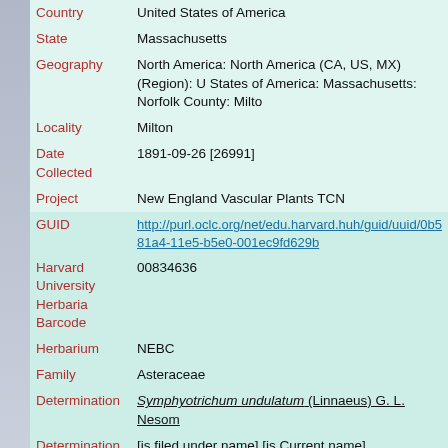| Field | Value |
| --- | --- |
| Country | United States of America |
| State | Massachusetts |
| Geography | North America: North America (CA, US, MX) (Region): United States of America: Massachusetts: Norfolk County: Milton |
| Locality | Milton |
| Date Collected | 1891-09-26 [26991] |
| Project | New England Vascular Plants TCN |
| GUID | http://purl.oclc.org/net/edu.harvard.huh/guid/uuid/0b5-81a4-11e5-b5e0-001ec9fd629b |
| Harvard University Herbaria Barcode | 00834636 |
| Herbarium | NEBC |
| Family | Asteraceae |
| Determination | Symphyotrichum undulatum (Linnaeus) G. L. Nesom |
| Determination Remarks | [is filed under name] [is Current name] |
| Preparation Type | Sheet |
| Preparation Method | Pressed |